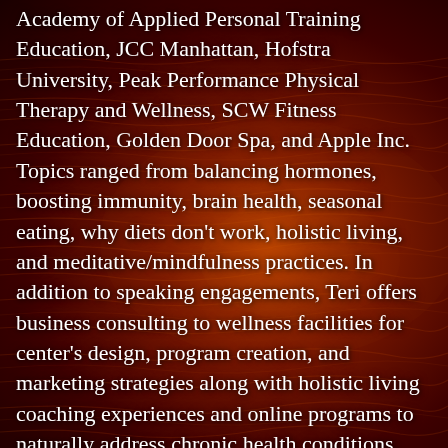Academy of Applied Personal Training Education, JCC Manhattan, Hofstra University, Peak Performance Physical Therapy and Wellness, SCW Fitness Education, Golden Door Spa, and Apple Inc. Topics ranged from balancing hormones, boosting immunity, brain health, seasonal eating, why diets don't work, holistic living, and meditative/mindfulness practices. In addition to speaking engagements, Teri offers business consulting to wellness facilities for center's design, program creation, and marketing strategies along with holistic living coaching experiences and online programs to naturally address chronic health conditions.
Everything about the world we live in is shifting. We can see it in our struggles with humanity, the chronic illness epidemics to the growing interest in consciousness awareness. We're at the start of...